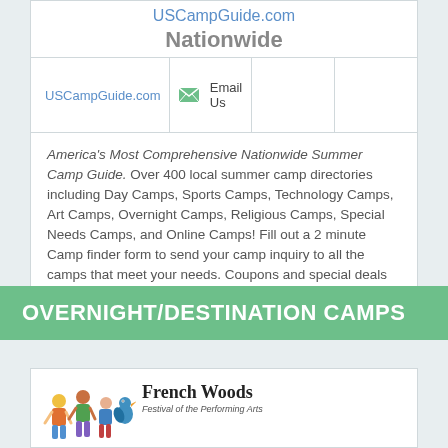USCampGuide.com
Nationwide
| Website | Email |  |  |
| --- | --- | --- | --- |
| USCampGuide.com | Email Us |  |  |
America's Most Comprehensive Nationwide Summer Camp Guide.  Over 400 local summer camp directories including Day Camps, Sports Camps, Technology Camps, Art Camps, Overnight Camps, Religious Camps, Special Needs Camps, and Online Camps! Fill out a 2 minute Camp finder form to send your camp inquiry to all the camps that meet your needs. Coupons and special deals available!
OVERNIGHT/DESTINATION CAMPS
[Figure (logo): French Woods Festival of the Performing Arts logo with illustrated children and a bird character]